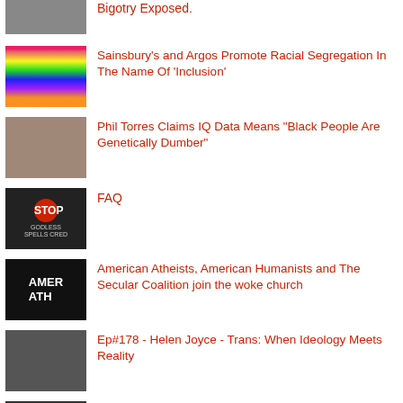Bigotry Exposed.
Sainsbury's and Argos Promote Racial Segregation In The Name Of 'Inclusion'
Phil Torres Claims IQ Data Means "Black People Are Genetically Dumber"
FAQ
American Atheists, American Humanists and The Secular Coalition join the woke church
Ep#178 - Helen Joyce - Trans: When Ideology Meets Reality
BOOK REVIEW: White Fragility by Robin DiAngelo
'Muslim' Woman Singled Out In Viral